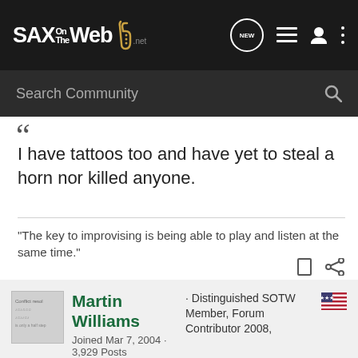SAX On The Web .net
Search Community
I have tattoos too and have yet to steal a horn nor killed anyone.
"The key to improvising is being able to play and listen at the same time."
Martin Williams · Distinguished SOTW Member, Forum Contributor 2008, Joined Mar 7, 2004 · 3,929 Posts